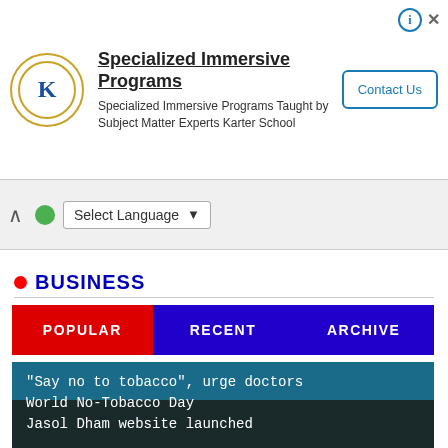[Figure (other): Advertisement banner for Karter School Specialized Immersive Programs with logo, text, and Contact Us button]
[Figure (screenshot): Language selector dropdown bar with Select Language option and chevron]
BUSINESS
[Figure (infographic): Tab navigation bar with three tabs: POPULAR (red), RECENT (blue), ARCHIVE (blue)]
[Figure (photo): Article card: "Say no to tobacco", urge doctors World No-Tobacco Day — over a teal background with watermark text 'Make every day']
Jasol Dham website launched